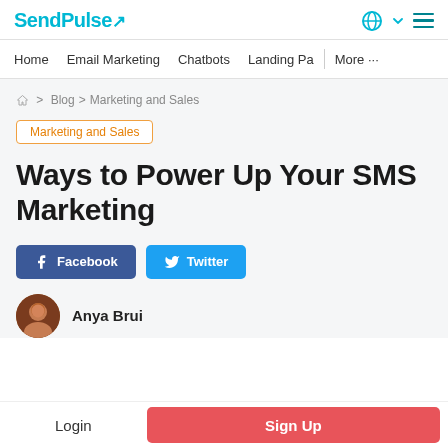SendPulse
Home  Email Marketing  Chatbots  Landing Pa  More ...
Home > Blog > Marketing and Sales
Marketing and Sales
Ways to Power Up Your SMS Marketing
Facebook  Twitter
Anya Brui
Login  Sign Up